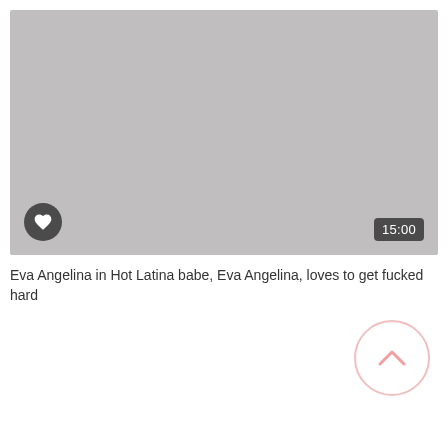[Figure (screenshot): Video thumbnail placeholder — solid light grey rectangle with a heart/favorite button (dark circular icon) in the bottom-left and a duration badge '15:00' in the bottom-right]
Eva Angelina in Hot Latina babe, Eva Angelina, loves to get fucked hard
[Figure (other): Scroll-to-top circular button with an upward chevron arrow, light pink border, bottom-right corner]